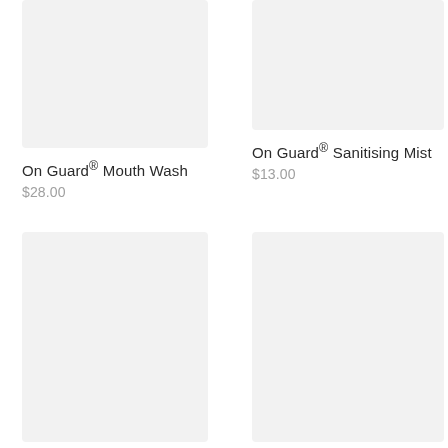[Figure (photo): Product image placeholder for On Guard Mouth Wash, light grey background]
On Guard® Mouth Wash
$28.00
[Figure (photo): Product image placeholder for On Guard Sanitising Mist, light grey background]
On Guard® Sanitising Mist
$13.00
[Figure (photo): Product image placeholder for Copaiba, light grey background]
Copaiba
$24.33
[Figure (photo): Product image placeholder for Clove, light grey background]
Clove
$24.33